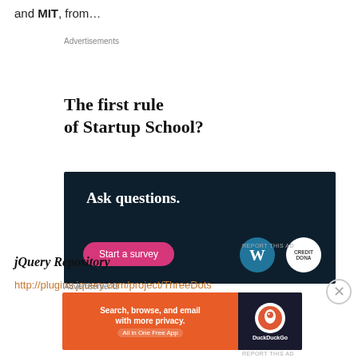and MIT, from…
Advertisements
[Figure (infographic): Advertisement: 'The first rule of Startup School?' with dark navy background panel showing 'Ask questions.' text, a 'Start a survey' pink button, WordPress logo and Credit Dona logo.]
REPORT THIS AD
jQuery Repository
http://plugins.jquery.com/project/ThreeDots
Advertisements
[Figure (infographic): DuckDuckGo advertisement: 'Search, browse, and email with more privacy. All in One Free App' on orange background with DuckDuckGo logo on dark right panel.]
REPORT THIS AD